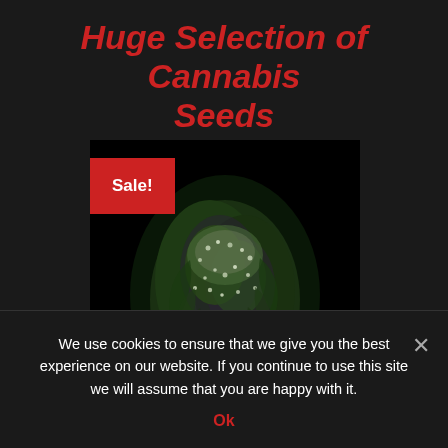Huge Selection of Cannabis Seeds
[Figure (photo): Close-up photo of a cannabis bud with a red Sale! badge in the upper left corner. The bud is green and purple with white trichomes on a black background.]
We use cookies to ensure that we give you the best experience on our website. If you continue to use this site we will assume that you are happy with it.
Ok